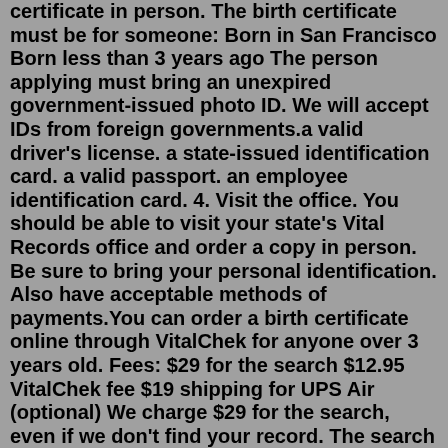certificate in person. The birth certificate must be for someone: Born in San Francisco Born less than 3 years ago The person applying must bring an unexpired government-issued photo ID. We will accept IDs from foreign governments.a valid driver's license. a state-issued identification card. a valid passport. an employee identification card. 4. Visit the office. You should be able to visit your state's Vital Records office and order a copy in person. Be sure to bring your personal identification. Also have acceptable methods of payments.You can order a birth certificate online through VitalChek for anyone over 3 years old. Fees: $29 for the search $12.95 VitalChek fee $19 shipping for UPS Air (optional) We charge $29 for the search, even if we don't find your record. The search fee includes a copy of the birth certificate if we find it.Contact. Post.CHD06@flhealth.gov. 954-467-4700. DOH-Broward. 954-767-5111. WIC. The Florida Department of Health in Broward County's Vital Statistics Offices are committed to providing the